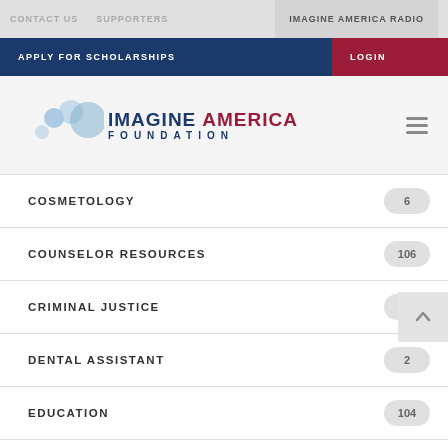CONTACT US   SUPPORTERS   IMAGINE AMERICA RADIO
APPLY FOR SCHOLARSHIPS   LOGIN
[Figure (logo): Imagine America Foundation logo with blue circles, blue text IMAGINE and red text AMERICA, blue FOUNDATION text below]
COSMETOLOGY  6
COUNSELOR RESOURCES  106
CRIMINAL JUSTICE  3
DENTAL ASSISTANT  2
EDUCATION  104